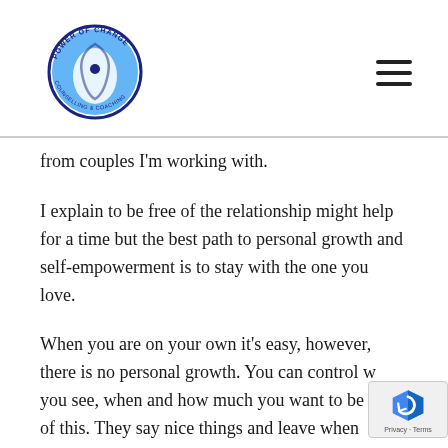[Figure (logo): Power of Change Counselling & Coaching circular logo with blue swirl design]
from couples I'm working with.
I explain to be free of the relationship might help for a time but the best path to personal growth and self-empowerment is to stay with the one you love.
When you are on your own it's easy, however, there is no personal growth. You can control who you see, when and how much you want to be part of this. They say nice things and leave when you